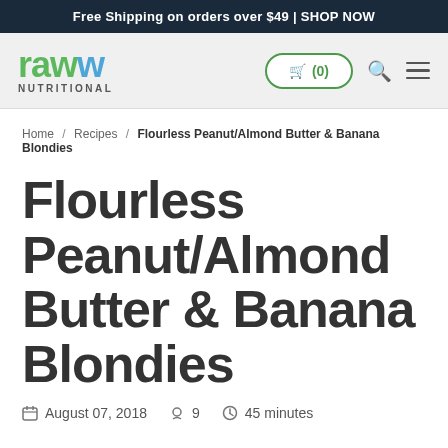Free Shipping on orders over $49 | SHOP NOW
[Figure (logo): raww Nutritional logo with green and blue stylized W]
Home / Recipes / Flourless Peanut/Almond Butter & Banana Blondies
Flourless Peanut/Almond Butter & Banana Blondies
August 07, 2018   9   45 minutes